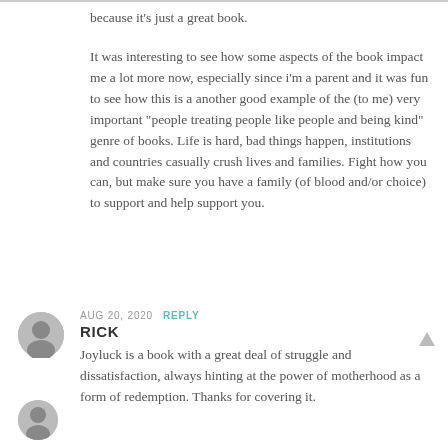because it’s just a great book.
It was interesting to see how some aspects of the book impact me a lot more now, especially since i’m a parent and it was fun to see how this is a another good example of the (to me) very important “people treating people like people and being kind” genre of books. Life is hard, bad things happen, institutions and countries casually crush lives and families. Fight how you can, but make sure you have a family (of blood and/or choice) to support and help support you.
AUG 20, 2020  REPLY
RICK
Joyluck is a book with a great deal of struggle and dissatisfaction, always hinting at the power of motherhood as a form of redemption. Thanks for covering it.